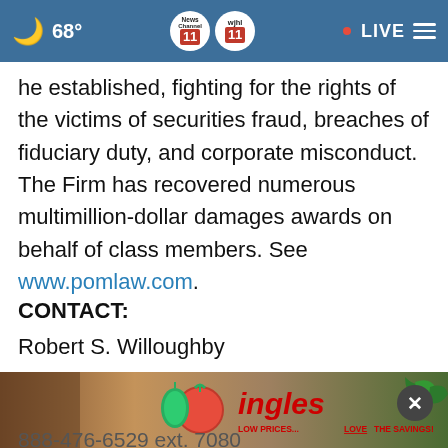68° | News Channel 11 WJHL | LIVE
he established, fighting for the rights of the victims of securities fraud, breaches of fiduciary duty, and corporate misconduct. The Firm has recovered numerous multimillion-dollar damages awards on behalf of class members. See www.pomlaw.com.
CONTACT:
Robert S. Willoughby
Pomerantz LLP
rswill...
888-476-6529 ext. 7980
[Figure (screenshot): Ingles grocery store advertisement banner showing vegetables, tomato, pepper, Ingles logo in red italic, tagline 'LOW PRICES... LOVE THE SAVINGS!']